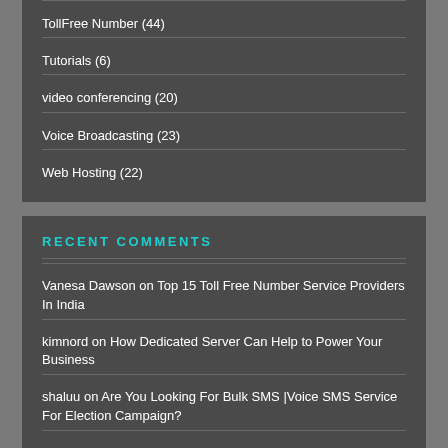TollFree Number (44)
Tutorials (6)
video conferencing (20)
Voice Broadcasting (23)
Web Hosting (22)
RECENT COMMENTS
Vanesa Dawson on Top 15 Toll Free Number Service Providers In India
kimnord on How Dedicated Server Can Help to Power Your Business
shaluu on Are You Looking For Bulk SMS |Voice SMS Service For Election Campaign?
Rosaly on Successful SMS Marketing Campaign- Some Important Key Elements